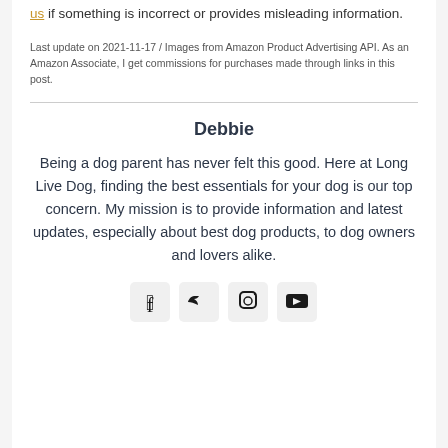us if something is incorrect or provides misleading information.
Last update on 2021-11-17 / Images from Amazon Product Advertising API. As an Amazon Associate, I get commissions for purchases made through links in this post.
Debbie
Being a dog parent has never felt this good. Here at Long Live Dog, finding the best essentials for your dog is our top concern. My mission is to provide information and latest updates, especially about best dog products, to dog owners and lovers alike.
[Figure (infographic): Row of four social media icons: Facebook, Twitter, Instagram, YouTube, each in a light gray rounded box]